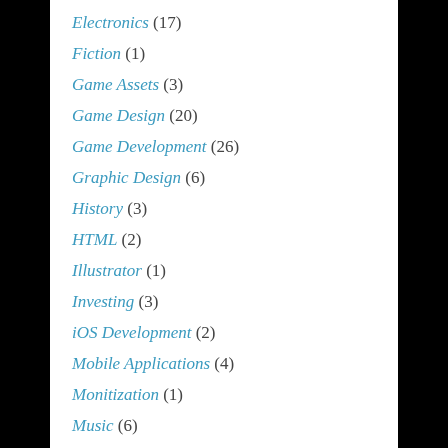Electronics (17)
Fiction (1)
Game Assets (3)
Game Design (20)
Game Development (26)
Graphic Design (6)
History (3)
HTML (2)
Illustrator (1)
Investing (3)
iOS Development (2)
Mobile Applications (4)
Monitization (1)
Music (6)
Non-Profit (3)
Online Advertising (1)
Online Marketing (1)
Photography (1)